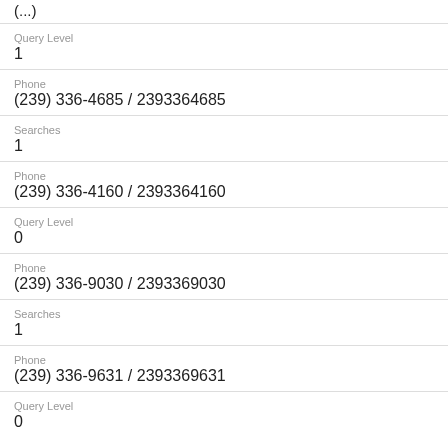(...)
Query Level
1
Phone
(239) 336-4685 / 2393364685
Searches
1
Phone
(239) 336-4160 / 2393364160
Query Level
0
Phone
(239) 336-9030 / 2393369030
Searches
1
Phone
(239) 336-9631 / 2393369631
Query Level
0